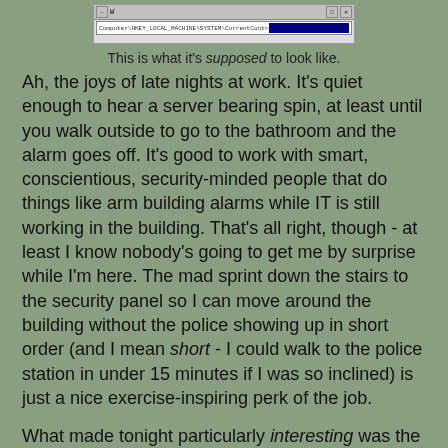[Figure (screenshot): A Windows dialog or browser window screenshot showing an address bar with a long registry/file path, partially obscured by a black highlight.]
This is what it's supposed to look like.
Ah, the joys of late nights at work. It's quiet enough to hear a server bearing spin, at least until you walk outside to go to the bathroom and the alarm goes off. It's good to work with smart, conscientious, security-minded people that do things like arm building alarms while IT is still working in the building. That's all right, though - at least I know nobody's going to get me by surprise while I'm here. The mad sprint down the stairs to the security panel so I can move around the building without the police showing up in short order (and I mean short - I could walk to the police station in under 15 minutes if I was so inclined) is just a nice exercise-inspiring perk of the job.
What made tonight particularly interesting was the maintenance I decided to perform. We have a small VMWare ESX infrastructure at work and, for the past few weeks, it's been acting up a bit. While digging into the problem, I noticed that there were several discarded inbound packets being registered by our stack switch; some Google-fu